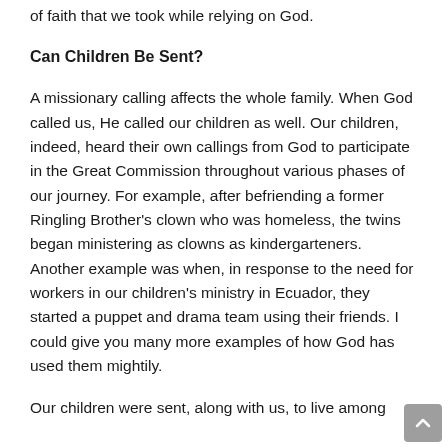of faith that we took while relying on God.
Can Children Be Sent?
A missionary calling affects the whole family. When God called us, He called our children as well. Our children, indeed, heard their own callings from God to participate in the Great Commission throughout various phases of our journey. For example, after befriending a former Ringling Brother's clown who was homeless, the twins began ministering as clowns as kindergarteners. Another example was when, in response to the need for workers in our children's ministry in Ecuador, they started a puppet and drama team using their friends. I could give you many more examples of how God has used them mightily.
Our children were sent, along with us, to live among